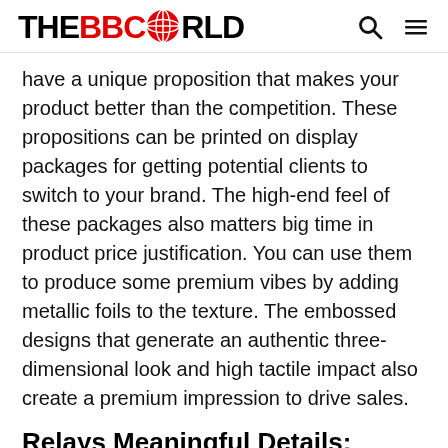THE BBC WORLD
have a unique proposition that makes your product better than the competition. These propositions can be printed on display packages for getting potential clients to switch to your brand. The high-end feel of these packages also matters big time in product price justification. You can use them to produce some premium vibes by adding metallic foils to the texture. The embossed designs that generate an authentic three-dimensional look and high tactile impact also create a premium impression to drive sales.
Relays Meaningful Details:
Perhaps, the most critical point in a product display that encourages instant purchases is the accurate depiction of product details. The more playful you are with communicating extraordinary facts, the more you stand